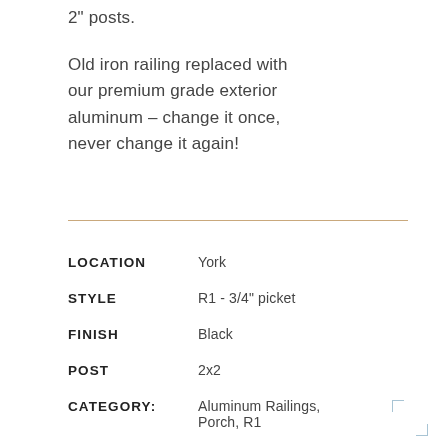2" posts.
Old iron railing replaced with our premium grade exterior aluminum – change it once, never change it again!
| Field | Value |
| --- | --- |
| LOCATION | York |
| STYLE | R1 - 3/4" picket |
| FINISH | Black |
| POST | 2x2 |
| CATEGORY: | Aluminum Railings, Porch, R1 |